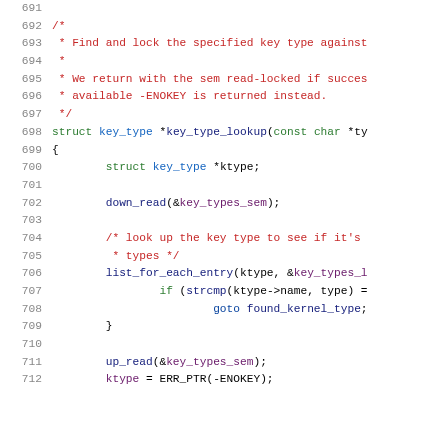Code listing lines 691–712: C source code showing key_type_lookup function
[Figure (screenshot): C source code with syntax highlighting showing function key_type_lookup, lines 691-712. Comments in red, keywords in green, function names in dark blue, identifiers in various colors.]